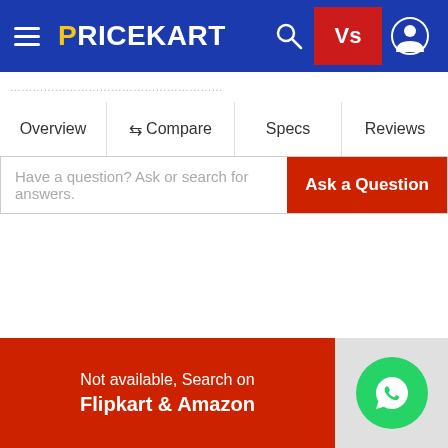[Figure (screenshot): Pricekart website header with blue navigation bar showing hamburger menu, Pricekart logo, search icon, Vs button (red), and user profile icon]
PRICEKART
(partial breadcrumb text — truncated/obscured)
Overview  ⇌ Compare  Specs  Reviews
Have a question? Ask or search for answers.
Ask a Question
Not available, Search on
Flipkart & Amazon